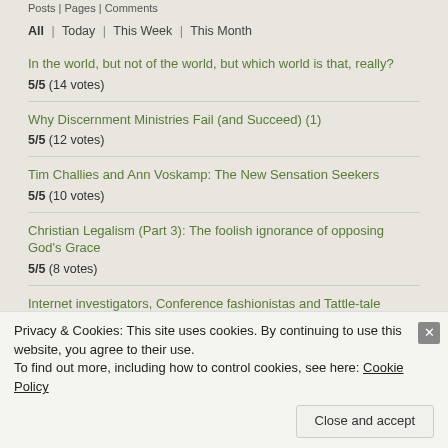Posts | Pages | Comments
All | Today | This Week | This Month
In the world, but not of the world, but which world is that, really?
5/5 (14 votes)
Why Discernment Ministries Fail (and Succeed) (1)
5/5 (12 votes)
Tim Challies and Ann Voskamp: The New Sensation Seekers
5/5 (10 votes)
Christian Legalism (Part 3): The foolish ignorance of opposing God's Grace
5/5 (8 votes)
Internet investigators, Conference fashionistas and Tattle-tale heroes
Privacy & Cookies: This site uses cookies. By continuing to use this website, you agree to their use.
To find out more, including how to control cookies, see here: Cookie Policy
Close and accept